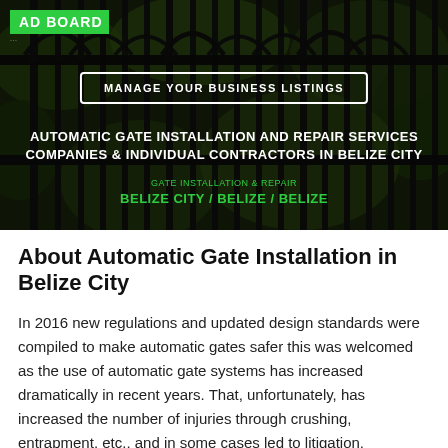[Figure (photo): Hero banner image of decorative wrought iron gate with green foliage in background, dark overlay. Contains ADBOARD logo, a 'Manage Your Business Listings' button, and headline text about automatic gate installation and repair services in Belize City.]
About Automatic Gate Installation in Belize City
In 2016 new regulations and updated design standards were compiled to make automatic gates safer this was welcomed as the use of automatic gate systems has increased dramatically in recent years. That, unfortunately, has increased the number of injuries through crushing, entrapment, etc., and in some cases led to litigation. However, that is avoidable through correct automatic gate installation and the following